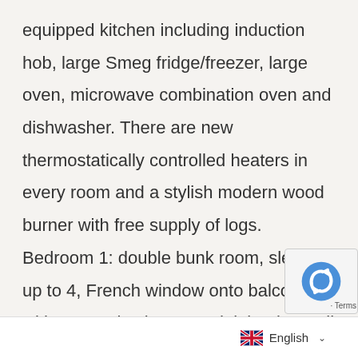equipped kitchen including induction hob, large Smeg fridge/freezer, large oven, microwave combination oven and dishwasher. There are new thermostatically controlled heaters in every room and a stylish modern wood burner with free supply of logs. Bedroom 1: double bunk room, sleeps up to 4, French window onto balcony with mountain views, 4 adult bunks, wall mounted flat screen TV, Hudl2 tablet PC, and adjacent to a new tiled bathroom with shower, WC, wash basin an[d] heated towel rail.